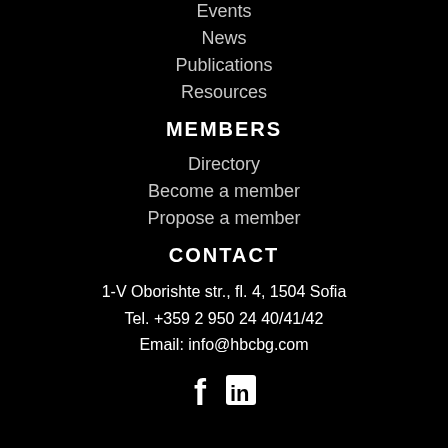Events
News
Publications
Resources
MEMBERS
Directory
Become a member
Propose a member
CONTACT
1-V Oborishte str., fl. 4, 1504 Sofia
Tel. +359 2 950 24 40/41/42
Email: info@hbcbg.com
[Figure (illustration): Social media icons: Facebook (f) and LinkedIn (in)]